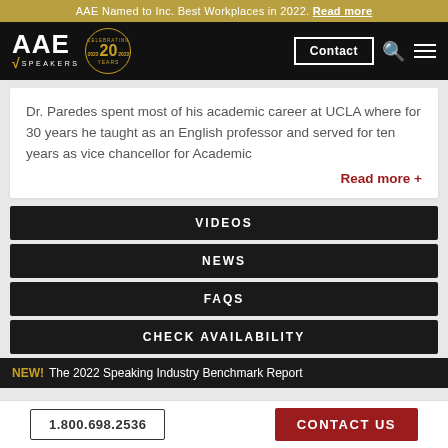AAE Named to Inc. Best Workplaces in 2022. Read more
[Figure (logo): AAE Speakers logo with 'Celebrating 20 Years' badge on black navigation bar with Contact button, search icon, and menu icon]
Dr. Paredes spent most of his academic career at UCLA where for 30 years he taught as an English professor and served for ten years as vice chancellor for Academic
Read more +
VIDEOS
NEWS
FAQS
CHECK AVAILABILITY
NEW! The 2022 Speaking Industry Benchmark Report
1.800.698.2536
CONTACT US